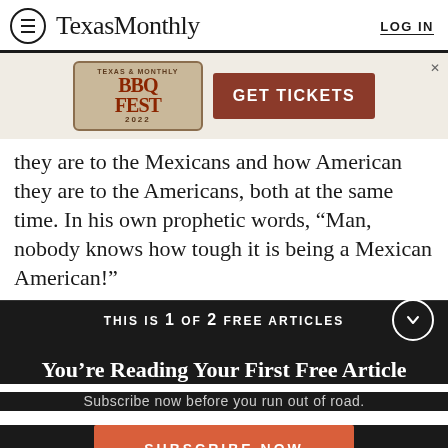TexasMonthly  LOG IN
[Figure (screenshot): Texas Monthly BBQ Fest 2022 advertisement banner with logo on left and 'GET TICKETS' red button on right]
they are to the Mexicans and how American they are to the Americans, both at the same time. In his own prophetic words, “Man, nobody knows how tough it is being a Mexican American!”
THIS IS 1 OF 2 FREE ARTICLES
You’re Reading Your First Free Article
Subscribe now before you run out of road.
SUBSCRIBE NOW
Already a subscriber? Log in